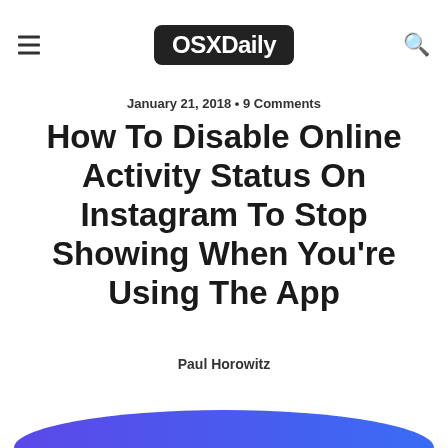OSXDaily
January 21, 2018 • 9 Comments
How To Disable Online Activity Status On Instagram To Stop Showing When You're Using The App
Paul Horowitz
[Figure (screenshot): Bottom of a phone screenshot showing a blue/purple curved shape at the bottom of the page]